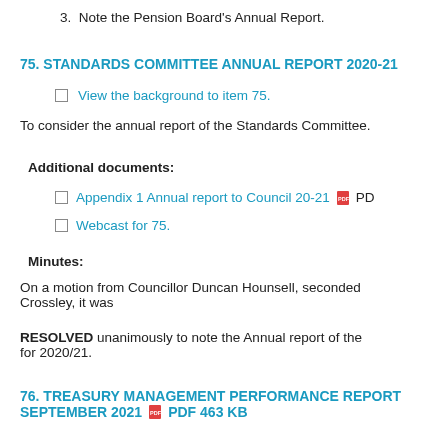3.  Note the Pension Board's Annual Report.
75. STANDARDS COMMITTEE ANNUAL REPORT 2020-21
View the background to item 75.
To consider the annual report of the Standards Committee.
Additional documents:
Appendix 1 Annual report to Council 20-21  PDF
Webcast for 75.
Minutes:
On a motion from Councillor Duncan Hounsell, seconded Crossley, it was
RESOLVED unanimously to note the Annual report of the for 2020/21.
76. TREASURY MANAGEMENT PERFORMANCE REPORT SEPTEMBER 2021  PDF 463 KB